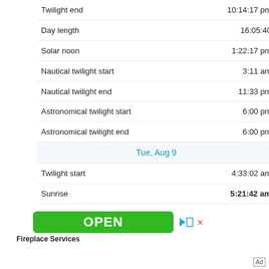| Twilight end | 10:14:17 pm |
| Day length | 16:05:40 |
| Solar noon | 1:22:17 pm |
| Nautical twilight start | 3:11 am |
| Nautical twilight end | 11:33 pm |
| Astronomical twilight start | 6:00 pm |
| Astronomical twilight end | 6:00 pm |
| Tue, Aug 9 |  |
| Twilight start | 4:33:02 am |
| Sunrise | 5:21:42 am |
[Figure (other): Advertisement banner with green OPEN button and Fireplace Services label]